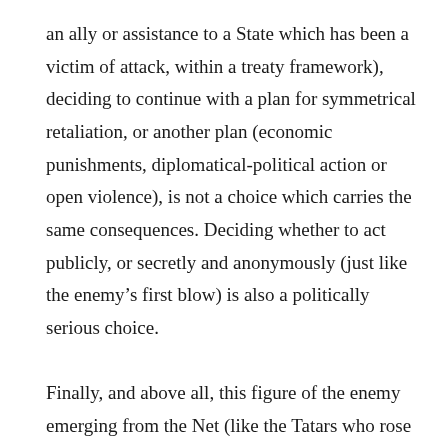an ally or assistance to a State which has been a victim of attack, within a treaty framework), deciding to continue with a plan for symmetrical retaliation, or another plan (economic punishments, diplomatical-political action or open violence), is not a choice which carries the same consequences. Deciding whether to act publicly, or secretly and anonymously (just like the enemy's first blow) is also a politically serious choice.

Finally, and above all, this figure of the enemy emerging from the Net (like the Tatars who rose up out of the desert in Buzzati's novel) reflects the issues